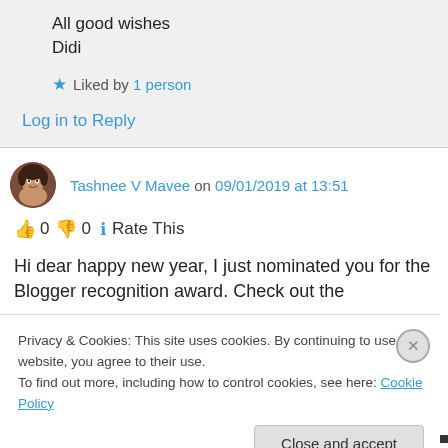All good wishes
Didi
Liked by 1 person
Log in to Reply
Tashnee V Mavee on 09/01/2019 at 13:51
👍 0 👎 0 ℹ Rate This
Hi dear happy new year, I just nominated you for the Blogger recognition award. Check out the
Privacy & Cookies: This site uses cookies. By continuing to use this website, you agree to their use.
To find out more, including how to control cookies, see here: Cookie Policy
Close and accept